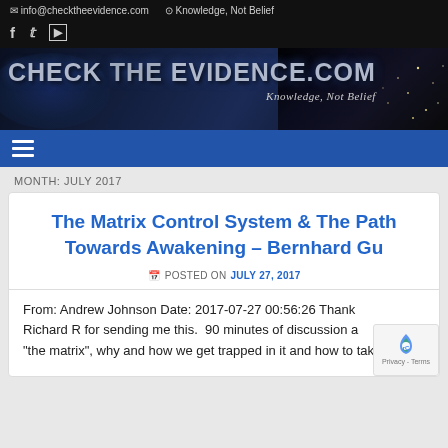✉ info@checktheevidence.com  ⊙ Knowledge, Not Belief
[Figure (logo): CHECK THE EVIDENCE .COM banner logo with earth image and city lights background, subtitle: Knowledge, Not Belief]
MONTH: JULY 2017
The Matrix Control System & The Path Towards Awakening – Bernhard Gu
POSTED ON JULY 27, 2017
From: Andrew Johnson Date: 2017-07-27 00:56:26 Thanks Richard R for sending me this.  90 minutes of discussion a "the matrix", why and how we get trapped in it and how to take a